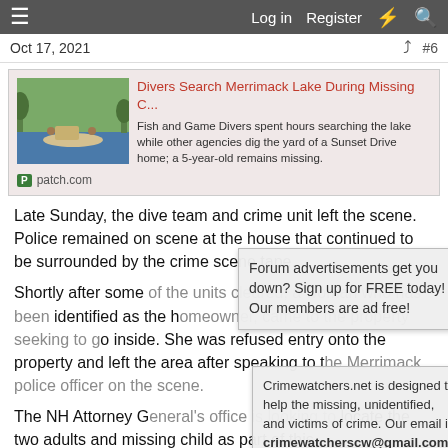≡  Log in  Register  ⚡  🔍
Oct 17, 2021  #6
[Figure (screenshot): Article link card with thumbnail image of divers on a lake. Title: 'Divers Search Merrimack Lake During Missing C...' Snippet: 'Fish and Game Divers spent hours searching the lake while other agencies dig the yard of a Sunset Drive home; a 5-year-old remains missing.' Source: patch.com]
Late Sunday, the dive team and crime unit left the scene. Police remained on scene at the house that continued to be surrounded by the crime scene tape.
Shortly after some of the units cleared, a woman who has been identified as the homeowner, came to the property seeking to go inside. She was refused entry onto the property and left the area after speaking to the Merrimack police officer on the scene.
The NH Attorney General's office is looking to locate the two adults and missing child as part of this
Forum advertisements get you down? Sign up for FREE today! Our members are ad free!
Crimewatchers.net is designed to help the missing, unidentified, and victims of crime. Our email is crimewatcherscw@gmail.com.